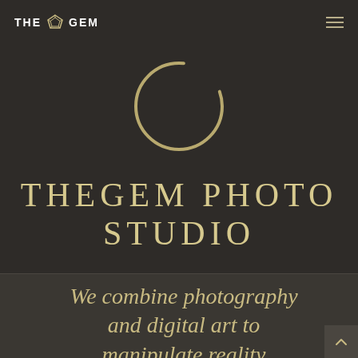THE GEM
[Figure (illustration): A thin circular ring outline in gold/tan color on dark background, resembling a loading spinner or decorative ring element]
THEGEM PHOTO STUDIO
We combine photography and digital art to manipulate reality